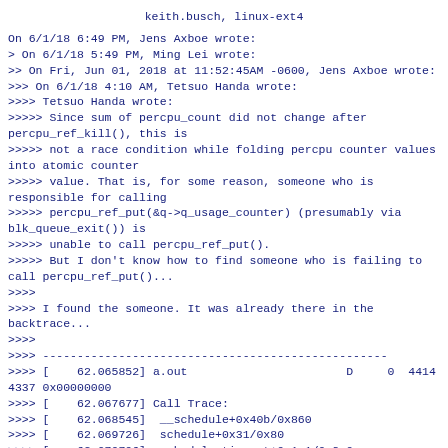keith.busch, linux-ext4
On 6/1/18 6:49 PM, Jens Axboe wrote:
> On 6/1/18 5:49 PM, Ming Lei wrote:
>> On Fri, Jun 01, 2018 at 11:52:45AM -0600, Jens Axboe wrote:
>>> On 6/1/18 4:10 AM, Tetsuo Handa wrote:
>>>> Tetsuo Handa wrote:
>>>>> Since sum of percpu_count did not change after percpu_ref_kill(), this is
>>>>> not a race condition while folding percpu counter values into atomic counter
>>>>> value. That is, for some reason, someone who is responsible for calling
>>>>> percpu_ref_put(&q->q_usage_counter) (presumably via blk_queue_exit()) is
>>>>> unable to call percpu_ref_put().
>>>>> But I don't know how to find someone who is failing to call percpu_ref_put()...
>>>>
>>>> I found the someone. It was already there in the backtrace...
>>>>
>>>> --------------------------------------------------
>>>> [    62.065852] a.out                       D     0  4414   4337 0x00000000
>>>> [    62.067677] Call Trace:
>>>> [    62.068545]  __schedule+0x40b/0x860
>>>> [    62.069726]  schedule+0x31/0x80
>>>> [    62.070796]  schedule_timeout+0x1c1/0x3c0